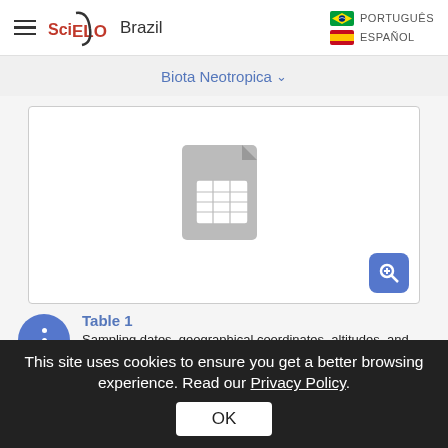SciELO Brazil | PORTUGUÊS | ESPAÑOL
Biota Neotropica
[Figure (screenshot): Spreadsheet/table document icon (grey) with a magnifying glass zoom button in the bottom right corner, inside a white card with border.]
Table 1
Sampling dates, geographical coordinates, altitudes, and climatic conditions of the seven sample points of this study (Emas National Park
This site uses cookies to ensure you get a better browsing experience. Read our Privacy Policy.